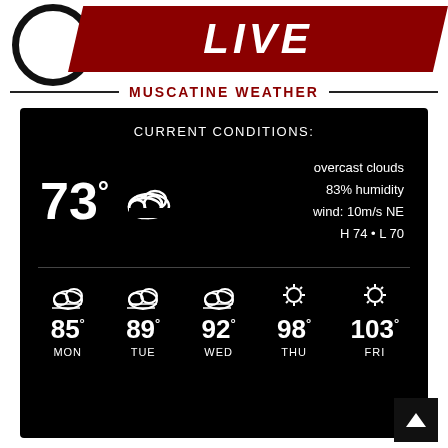[Figure (logo): Partial logo with circle icon on left and red LIVE banner on right]
MUSCATINE WEATHER
[Figure (infographic): Black weather widget showing current conditions: 73° overcast clouds, 83% humidity, wind: 10m/s NE, H 74 • L 70. Forecast: MON 85°, TUE 89°, WED 92°, THU 98°, FRI 103°]